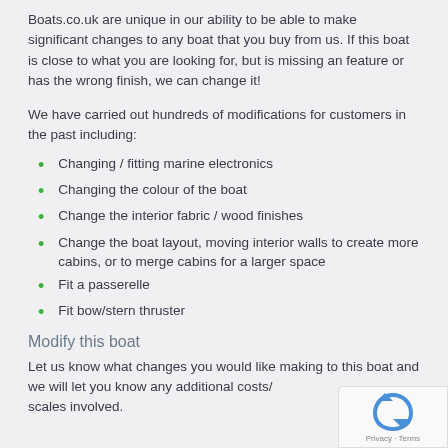Boats.co.uk are unique in our ability to be able to make significant changes to any boat that you buy from us. If this boat is close to what you are looking for, but is missing an feature or has the wrong finish, we can change it!
We have carried out hundreds of modifications for customers in the past including:
Changing / fitting marine electronics
Changing the colour of the boat
Change the interior fabric / wood finishes
Change the boat layout, moving interior walls to create more cabins, or to merge cabins for a larger space
Fit a passerelle
Fit bow/stern thruster
Modify this boat
Let us know what changes you would like making to this boat and we will let you know any additional costs/scales involved.